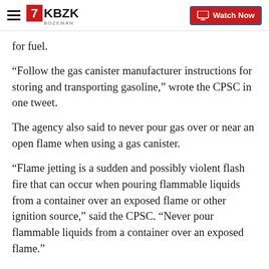KBZK BOZEMAN — Watch Now
for fuel.
“Follow the gas canister manufacturer instructions for storing and transporting gasoline,” wrote the CPSC in one tweet.
The agency also said to never pour gas over or near an open flame when using a gas canister.
“Flame jetting is a sudden and possibly violent flash fire that can occur when pouring flammable liquids from a container over an exposed flame or other ignition source,” said the CPSC. “Never pour flammable liquids from a container over an exposed flame.”